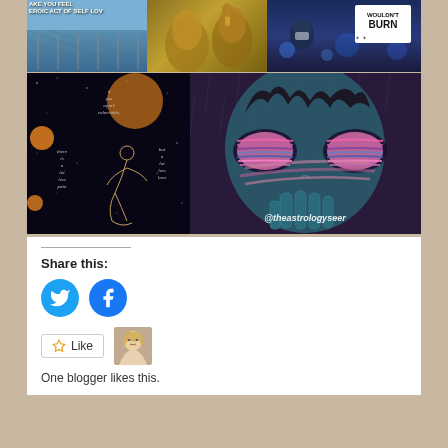[Figure (photo): Collage of 5 images in a 2-row grid: top row has a protest/scaffold image with text 'MAKE YOU FEEL HEROIC ACT OF SELF LOVE', a gold statue/figurine photo, and a protest scene with sign 'WOULDN'T BURN'; bottom row has a dark space-themed poem illustration with orange circles and a kneeling figure outline, and a dark anime-style illustration of a face with glowing pink eyes and text '@theastrologyseer']
Share this:
[Figure (infographic): Twitter and Facebook share buttons as circular blue icons]
[Figure (infographic): Like button with star icon and a small avatar photo of a blonde woman]
One blogger likes this.